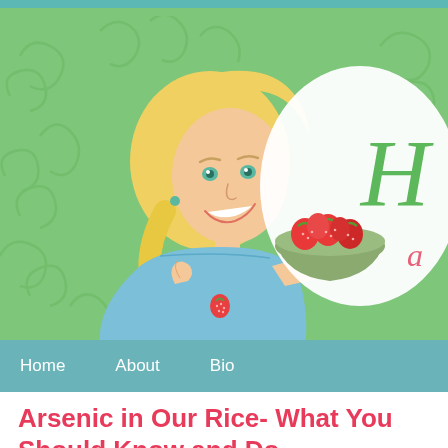[Figure (illustration): Website header banner with green swirly background. An illustrated blonde woman in a blue strapless dress holding a bowl of strawberries. A large white speech/logo bubble on the right with a green 'H' and red cursive 'a' visible. Teal top bar at very top.]
Home   About   Bio
Arsenic in Our Rice- What You Should Know and Do
By Healthy Darling · October 10th, 2012